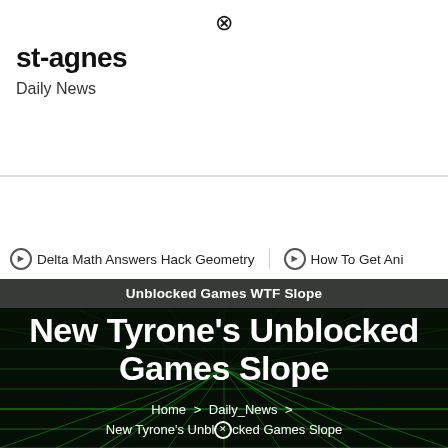st-agnes
Daily News
[Figure (screenshot): Navigation bar with hamburger menu on left and search icon on right, black background]
⊙ Delta Math Answers Hack Geometry  ⊙ How To Get Ani
[Figure (screenshot): Hero image with dark background and green wireframe grid pattern]
Unblocked Games WTF Slope
New Tyrone's Unblocked Games Slope
Home > Daily_News > New Tyrone's Unblocked Games Slope